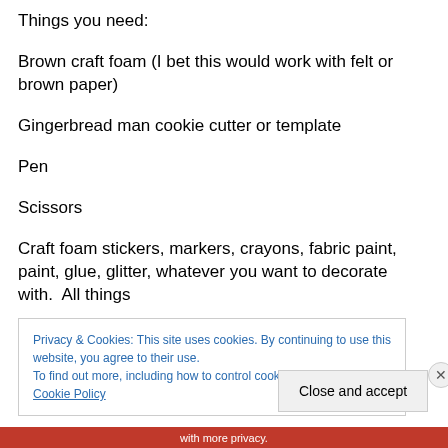Things you need:
Brown craft foam (I bet this would work with felt or brown paper)
Gingerbread man cookie cutter or template
Pen
Scissors
Craft foam stickers, markers, crayons, fabric paint, paint, glue, glitter, whatever you want to decorate with.  All things
Privacy & Cookies: This site uses cookies. By continuing to use this website, you agree to their use.
To find out more, including how to control cookies, see here: Cookie Policy
Close and accept
with more privacy.